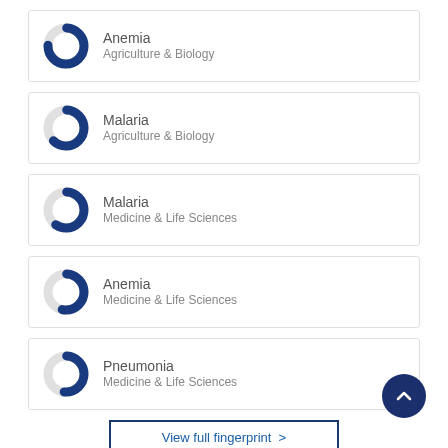Anemia - Agriculture & Biology
Malaria - Agriculture & Biology
Malaria - Medicine & Life Sciences
Anemia - Medicine & Life Sciences
Pneumonia - Medicine & Life Sciences
View full fingerprint >